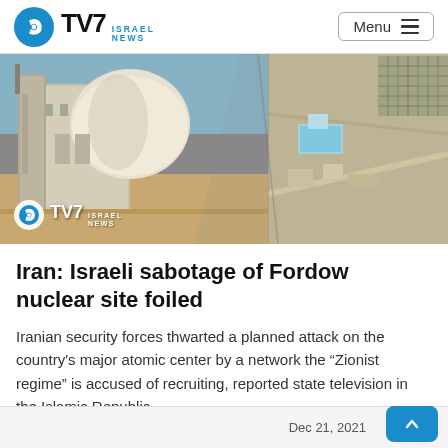TV7 ISRAEL NEWS
[Figure (photo): TV7 Israel News article hero image showing two side-by-side photos: left shows a nuclear facility building (Bushehr), right shows a satellite aerial view of the Fordow nuclear site. TV7 Israel News logo overlaid on lower-left of image.]
Iran: Israeli sabotage of Fordow nuclear site foiled
Iranian security forces thwarted a planned attack on the country's major atomic center by a network the “Zionist regime” is accused of recruiting, reported state television in the Islamic Republic....
Dec 21, 2021